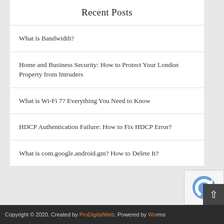Recent Posts
What is Bandwidth?
Home and Business Security: How to Protect Your London Property from Intruders
What is Wi-Fi 7? Everything You Need to Know
HDCP Authentication Failure: How to Fix HDCP Error?
What is com.google.android.gm? How to Delete It?
Copyright © 2020. Created by ProDigitalWeb. Powered by Wo…rms